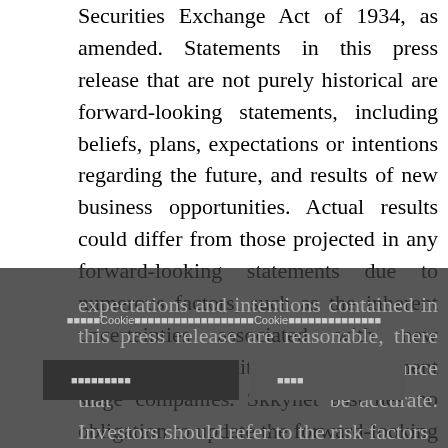Securities Exchange Act of 1934, as amended. Statements in this press release that are not purely historical are forward-looking statements, including beliefs, plans, expectations or intentions regarding the future, and results of new business opportunities. Actual results could differ from those projected in any forward-looking statements due to numerous factors, such as the inherent uncertainties associated with new business opportunities and development stage companies. Skkynet assumes no obligation to update the forward-looking statements. Although Skkynet believes that any beliefs, plans, expectations and intentions contained in this press release are reasonable, there can be no assurance that they will be accurate. Investors should refer to the risk factors